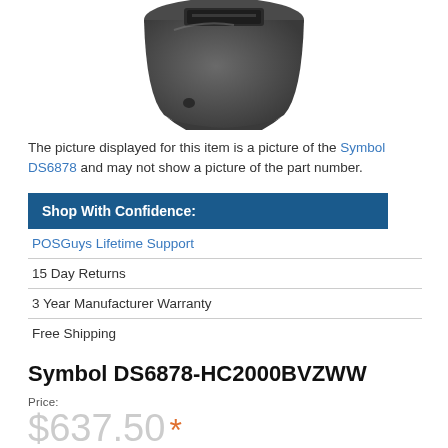[Figure (photo): Partial top view of a Symbol DS6878 barcode scanner, dark grey handheld device]
The picture displayed for this item is a picture of the Symbol DS6878 and may not show a picture of the part number.
Shop With Confidence:
POSGuys Lifetime Support
15 Day Returns
3 Year Manufacturer Warranty
Free Shipping
Symbol DS6878-HC2000BVZWW
Price:
$637.50 *